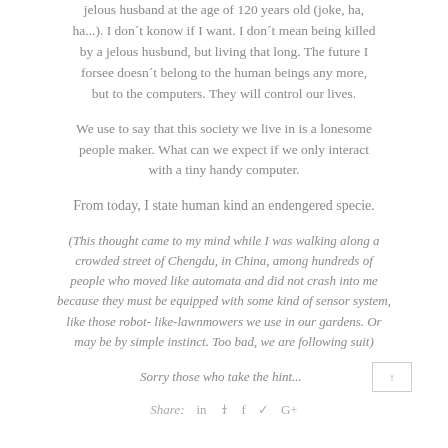jelous husband at the age of 120 years old (joke, ha, ha...). I don't konow if I want. I don't mean being killed by a jelous husbund, but living that long. The future I forsee doesn't belong to the human beings any more, but to the computers. They will control our lives.
We use to say that this society we live in is a lonesome people maker. What can we expect if we only interact with a tiny handy computer.
From today, I state human kind an endengered specie.
(This thought came to my mind while I was walking along a crowded street of Chengdu, in China, among hundreds of people who moved like automata and did not crash into me because they must be equipped with some kind of sensor system, like those robot- like-lawnmowers we use in our gardens. Or may be by simple instinct. Too bad, we are following suit)
Sorry those who take the hint...
Share: in P f ↑ G+